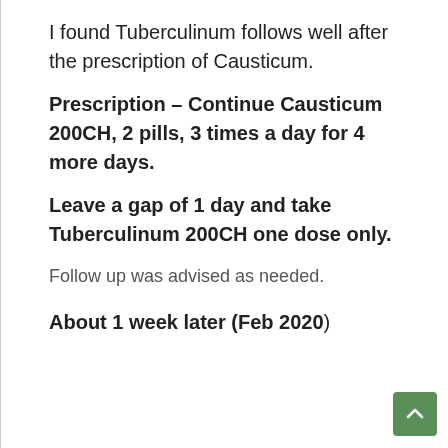I found Tuberculinum follows well after the prescription of Causticum.
Prescription – Continue Causticum 200CH, 2 pills, 3 times a day for 4 more days.
Leave a gap of 1 day and take Tuberculinum 200CH one dose only.
Follow up was advised as needed.
About 1 week later (Feb 2020)